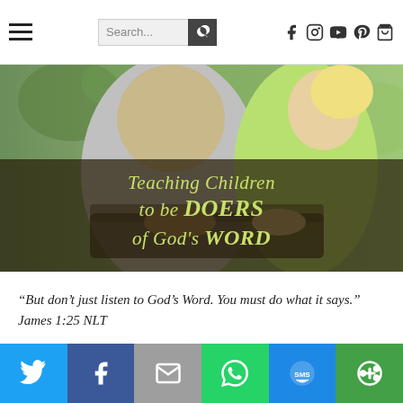Navigation bar with hamburger menu, search bar, and social icons (Facebook, Instagram, YouTube, Pinterest, Shopping bag)
[Figure (photo): Two people (adult and child) reading a book together outdoors with green background. Overlay text reads: Teaching Children to be DOERS of God's WORD]
“But don’t just listen to God’s Word. You must do what it says.” James 1:25 NLT
[Figure (infographic): Social share bar with Twitter, Facebook, Email, WhatsApp, SMS, and More buttons]